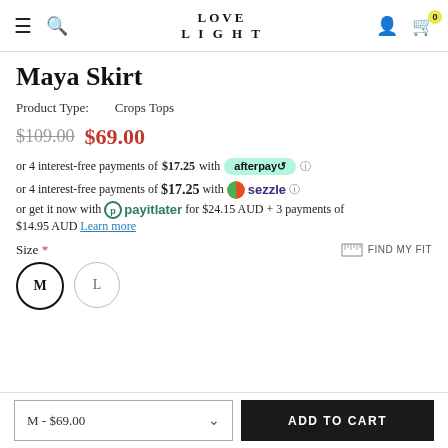LOVE LIGHT — navigation header with hamburger, search, logo, user icon, cart (0)
Maya Skirt
Product Type: Crops Tops
$109.00  $69.00
or 4 interest-free payments of $17.25 with afterpay
or 4 interest-free payments of $17.25 with sezzle
or get it now with payitlater for $24.15 AUD + 3 payments of $14.95 AUD Learn more
Size * FIND MY FIT
M  L
M - $69.00  ADD TO CART